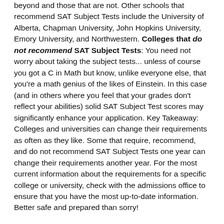beyond and those that are not. Other schools that recommend SAT Subject Tests include the University of Alberta, Chapman University, John Hopkins University, Emory University, and Northwestern. Colleges that do not recommend SAT Subject Tests: You need not worry about taking the subject tests... unless of course you got a C in Math but know, unlike everyone else, that you're a math genius of the likes of Einstein. In this case (and in others where you feel that your grades don't reflect your abilities) solid SAT Subject Test scores may significantly enhance your application. Key Takeaway: Colleges and universities can change their requirements as often as they like. Some that require, recommend, and do not recommend SAT Subject Tests one year can change their requirements another year. For the most current information about the requirements for a specific college or university, check with the admissions office to ensure that you have the most up-to-date information. Better safe and prepared than sorry!
SAT Subject Tests Outlined
Visit the College Board for descriptions of each subject test and to Try Out Real SAT Subject Test Questions. Here is a quick outline of each test: English — Literature The Literature SAT...